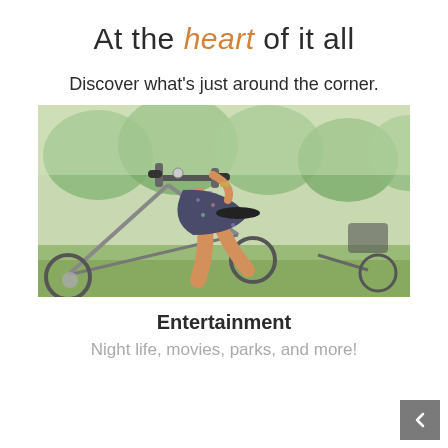At the heart of it all
Discover what's just around the corner.
[Figure (photo): Woman on a bicycle in a park, wearing a floral dress, holding handlebars, green trees in background]
Entertainment
Night life, movies, parks, and more!